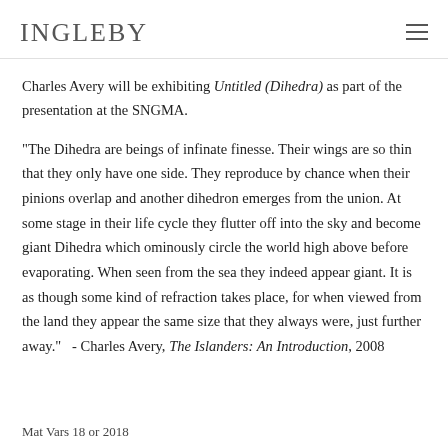INGLEBY
Charles Avery will be exhibiting Untitled (Dihedra) as part of the presentation at the SNGMA.
"The Dihedra are beings of infinate finesse. Their wings are so thin that they only have one side. They reproduce by chance when their pinions overlap and another dihedron emerges from the union. At some stage in their life cycle they flutter off into the sky and become giant Dihedra which ominously circle the world high above before evaporating. When seen from the sea they indeed appear giant. It is as though some kind of refraction takes place, for when viewed from the land they appear the same size that they always were, just further away."   - Charles Avery, The Islanders: An Introduction, 2008
Mat Vars 18 or 2018